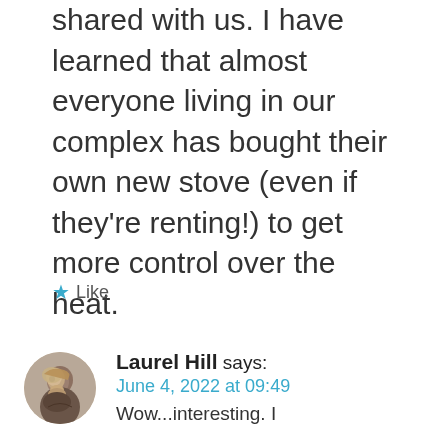shared with us. I have learned that almost everyone living in our complex has bought their own new stove (even if they're renting!) to get more control over the heat.
★ Like
Laurel Hill says: June 4, 2022 at 09:49 Wow...interesting. I